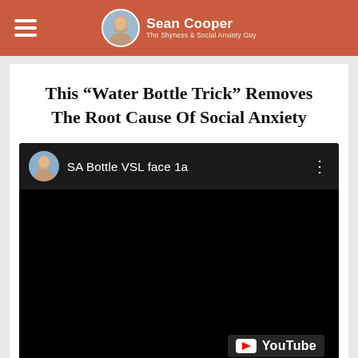Sean Cooper — The Shyness and Social Anxiety Guy
This “Water Bottle Trick” Removes The Root Cause Of Social Anxiety
[Figure (screenshot): Embedded YouTube video thumbnail with black background showing 'SA Bottle VSL face 1a' with a circular avatar photo and YouTube logo/play button in the bottom right.]